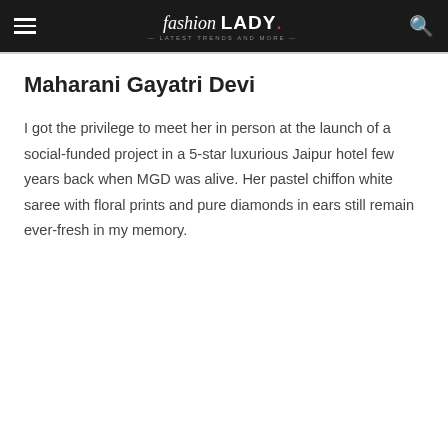fashion LADY · Latest Trends and More
Maharani Gayatri Devi
I got the privilege to meet her in person at the launch of a social-funded project in a 5-star luxurious Jaipur hotel few years back when MGD was alive. Her pastel chiffon white saree with floral prints and pure diamonds in ears still remain ever-fresh in my memory.